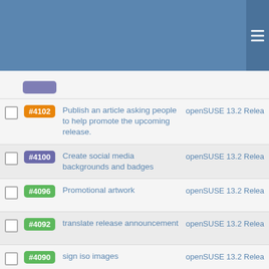openSUSE task list header
#4102 - Publish an article asking people to help promote the upcoming release. - openSUSE 13.2 Relea
#4100 - Create social media backgrounds and badges - openSUSE 13.2 Relea
#4096 - Promotional artwork - openSUSE 13.2 Relea
#4092 - translate release announcement - openSUSE 13.2 Relea
#4090 - sign iso images - openSUSE 13.2 Relea
#4088 - Send Gold Master announcement for developers - openSUSE 13.2 Relea
#4088 (partial) - openSUSE 13.2 Relea